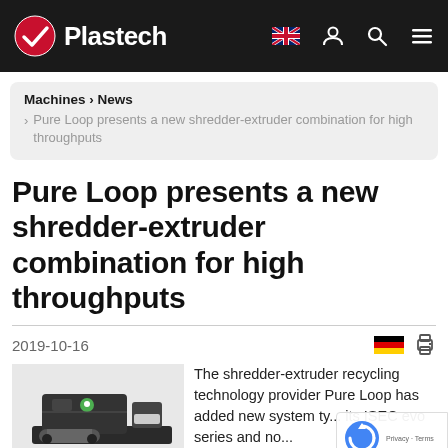Plastech
Machines › News › Pure Loop presents a new shredder-extruder combination for high throughputs
Pure Loop presents a new shredder-extruder combination for high throughputs
2019-10-16
[Figure (photo): Photo of Pure Loop ISEC evo shredder-extruder machine, a dark-colored industrial recycling equipment unit shown at an angle]
The shredder-extruder recycling technology provider Pure Loop has added new system types to its ISEC evo series and no...